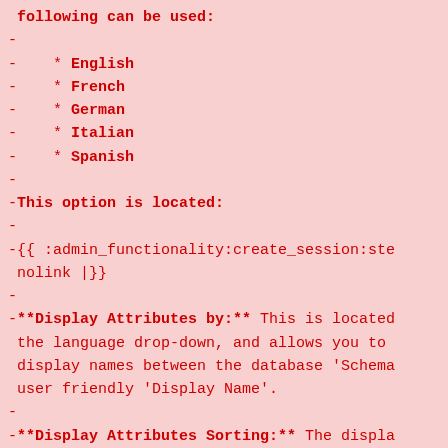following can be used:
-
-    * English
-    * French
-    * German
-    * Italian
-    * Spanish
-
-This option is located:
-
-{{ :admin_functionality:create_session:ste
nolink |}}
-
-**Display Attributes by:** This is located
 the language drop-down, and allows you to
 display names between the database 'Schema
 user friendly 'Display Name'.
-
-**Display Attributes Sorting:** The displa
 attributes can also be sorted in: